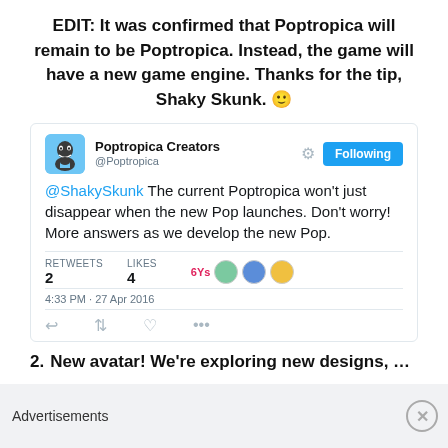EDIT: It was confirmed that Poptropica will remain to be Poptropica. Instead, the game will have a new game engine. Thanks for the tip, Shaky Skunk. 🙂
[Figure (screenshot): Screenshot of a tweet from @Poptropica (Poptropica Creators) saying: '@ShakySkunk The current Poptropica won't just disappear when the new Pop launches. Don't worry! More answers as we develop the new Pop.' With 2 retweets and 4 likes, posted at 4:33 PM - 27 Apr 2016.]
2. New avatar! We're exploring new designs, new...
Advertisements